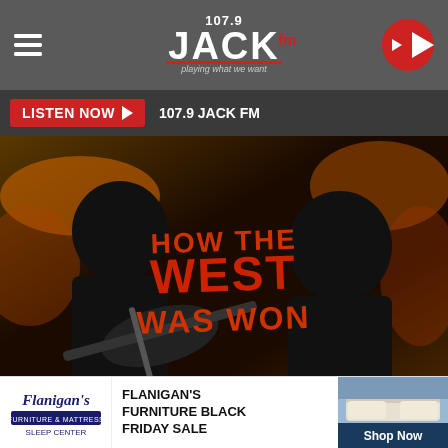107.9 JACK FM — playing what we want
LISTEN NOW ▶ 107.9 JACK FM
[Figure (photo): Album cover / promotional image for 'How The West Was Won' — two long-haired rock musicians playing guitar on a dark stylized background with orange/yellow highlights. Text overlay reads 'HOW THE WEST WAS WON' in large orange letters. Bottom right watermark: 'Atlantic']
WHY 'HOW THE WEST WAS WON'
FLANIGAN'S FURNITURE BLACK FRIDAY SALE
Shop Now